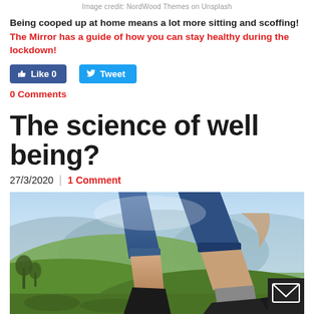Image credit: NordWood Themes on Unsplash
Being cooped up at home means a lot more sitting and scoffing!  The Mirror has a guide of how you can stay healthy during the lockdown!
[Figure (other): Facebook Like button (0) and Twitter Tweet button]
0 Comments
The science of well being?
27/3/2020  |  1 Comment
[Figure (photo): Photo of a person hiking on a hilltop with scenic green valley and hills in the background, viewed from low angle showing legs in rolled-up jeans and hiking boots]